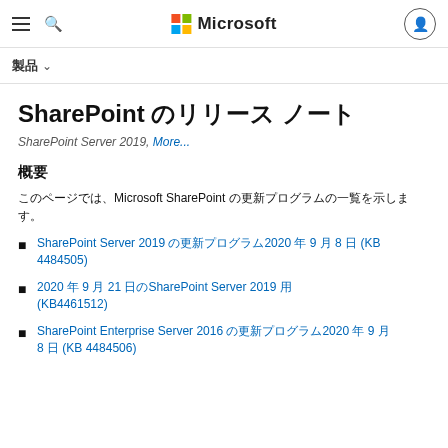Microsoft
SharePoint のリリース ノート
SharePoint Server 2019, More...
概要
このページでは、Microsoft SharePoint の更新プログラムの一覧を示します。
SharePoint Server 2019 の更新プログラム2020 年 9 月 8 日 (KB 4484505)
2020 年 9 月 21 日のSharePoint Server 2019 用 (KB4461512)
SharePoint Enterprise Server 2016 の更新プログラム2020 年 9 月 8 日 (KB 4484506)